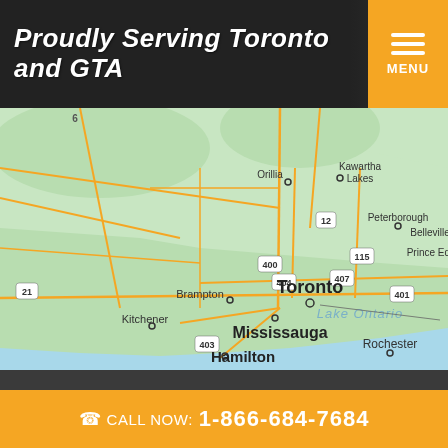Proudly Serving Toronto and GTA
[Figure (map): Google Maps screenshot showing Toronto, Mississauga, Brampton, Hamilton, Kitchener, Peterborough, Orillia, Kawartha Lakes, Belleville, Prince Edward, Rochester, and Lake Ontario. Highway labels include 400, 404, 407, 401, 115, 403, 21, 12, 6.]
© Copyright 2022 by MoldTech Inc.  |  Sitemap
Web Development by Xi Digital
CALL NOW: 1-866-684-7684